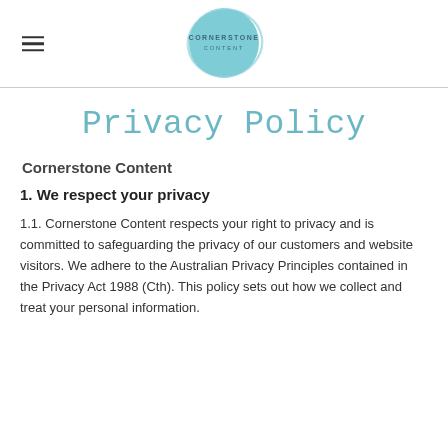[Figure (logo): Cornerstone Content logo: teal circle with text CORNERSTONE CONTENT inside, with a hand-drawn oval outline around it]
Privacy Policy
Cornerstone Content
1. We respect your privacy
1.1. Cornerstone Content respects your right to privacy and is committed to safeguarding the privacy of our customers and website visitors. We adhere to the Australian Privacy Principles contained in the Privacy Act 1988 (Cth). This policy sets out how we collect and treat your personal information.